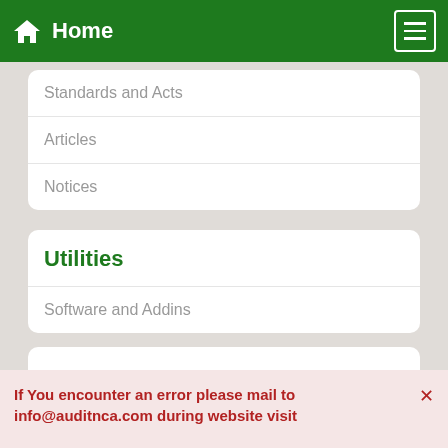Home
Standards and Acts
Articles
Notices
Utilities
Software and Addins
If You encounter an error please mail to info@auditnca.com during website visit